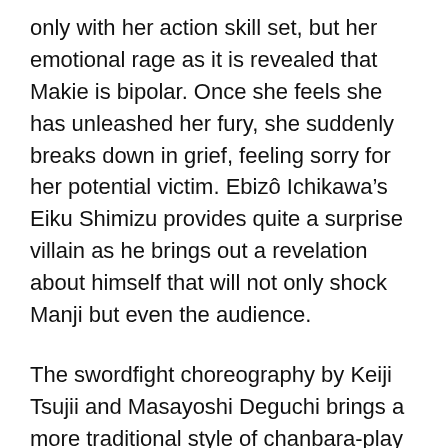only with her action skill set, but her emotional rage as it is revealed that Makie is bipolar. Once she feels she has unleashed her fury, she suddenly breaks down in grief, feeling sorry for her potential victim. Ebizô Ichikawa's Eiku Shimizu provides quite a surprise villain as he brings out a revelation about himself that will not only shock Manji but even the audience.
The swordfight choreography by Keiji Tsujii and Masayoshi Deguchi brings a more traditional style of chanbara-play when compared to the blistering choreography of Kenji Tanigaki in the Rurouni Kenshin trilogy. However, with Miike's flair for violence, one would expect geysers of blood and an overabundance of blood spurting. However, Miike